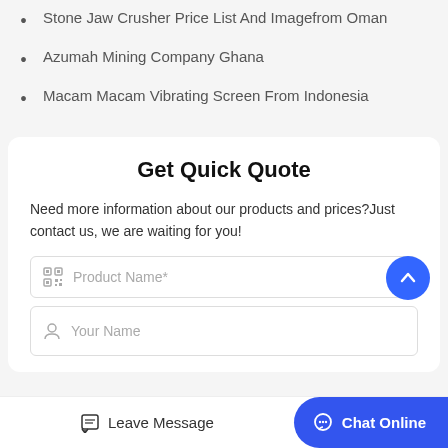Stone Jaw Crusher Price List And Imagefrom Oman
Azumah Mining Company Ghana
Macam Macam Vibrating Screen From Indonesia
Get Quick Quote
Need more information about our products and prices?Just contact us, we are waiting for you!
Product Name*
Your Name
Leave Message
Chat Online